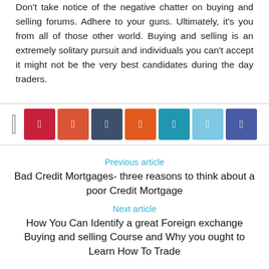Don't take notice of the negative chatter on buying and selling forums. Adhere to your guns. Ultimately, it's you from all of those other world. Buying and selling is an extremely solitary pursuit and individuals you can't accept it might not be the very best candidates during the day traders.
[Figure (other): Social share buttons row: a small square icon on the left, and seven colored share buttons (Pinterest red, Google+ orange-red, LinkedIn dark blue, Reddit orange, Twitter teal, Twitter light blue, Facebook indigo) on the right]
Previous article
Bad Credit Mortgages- three reasons to think about a poor Credit Mortgage
Next article
How You Can Identify a great Foreign exchange Buying and selling Course and Why you ought to Learn How To Trade